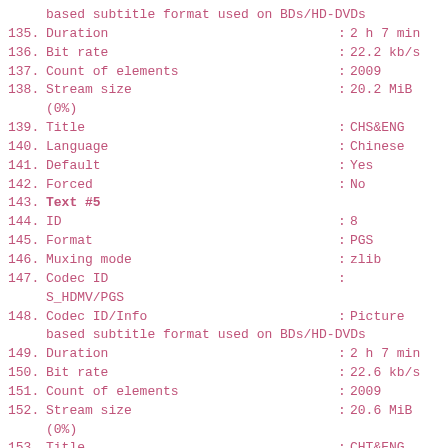based subtitle format used on BDs/HD-DVDs
135. Duration                                    : 2 h 7 min
136. Bit rate                                     : 22.2 kb/s
137. Count of elements                            : 2009
138. Stream size                                  : 20.2 MiB
        (0%)
139. Title                                        : CHS&ENG
140. Language                                     : Chinese
141. Default                                      : Yes
142. Forced                                       : No
143. Text #5
144. ID                                           : 8
145. Format                                       : PGS
146. Muxing mode                                  : zlib
147. Codec ID                                     :
        S_HDMV/PGS
148. Codec ID/Info                                : Picture
        based subtitle format used on BDs/HD-DVDs
149. Duration                                     : 2 h 7 min
150. Bit rate                                     : 22.6 kb/s
151. Count of elements                            : 2009
152. Stream size                                  : 20.6 MiB
        (0%)
153. Title                                        : CHT&ENG
154. Language                                     : Chinese
155. Default                                      : Yes